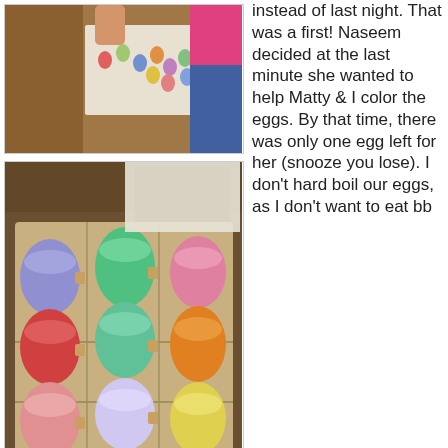[Figure (photo): Children dyeing Easter eggs at a table, with colorful small eggs and supplies visible]
[Figure (photo): One dozen colorful dyed Easter eggs in various colors (blue, red, green, orange, yellow, pink, lavender, teal) in an egg carton]
[Figure (photo): Easter egg dyeing kit with cups of colored dye (red/orange) and instruction booklets on a wooden surface]
instead of last night. That was a first! Naseem decided at the last minute she wanted to help Matty & I color the eggs. By that time, there was only one egg left for her (snooze you lose). I don't hard boil our eggs, as I don't want to eat bb